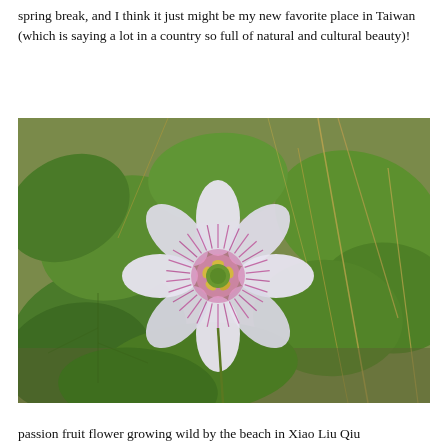spring break, and I think it just might be my new favorite place in Taiwan (which is saying a lot in a country so full of natural and cultural beauty)!
[Figure (photo): A passion fruit flower with white petals and pink-purple corona filaments and yellow-green center, growing wild among green clover-like leaves and dry grass.]
passion fruit flower growing wild by the beach in Xiao Liu Qiu